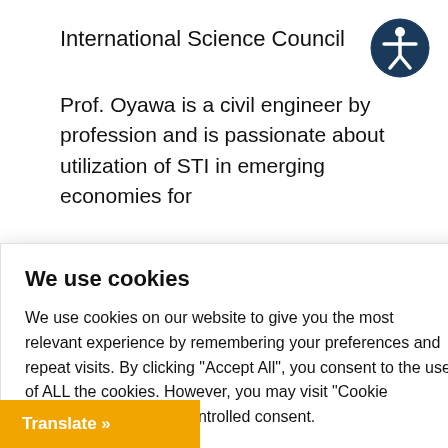International Science Council
Prof. Oyawa is a civil engineer by profession and is passionate about utilization of STI in emerging economies for
he East
g Board,
y roles
ne 13, 2022
We use cookies
We use cookies on our website to give you the most relevant experience by remembering your preferences and repeat visits. By clicking "Accept All", you consent to the use of ALL the cookies. However, you may visit "Cookie Settings" to provide a controlled consent.
Cookie Settings
Accept All
Translate »